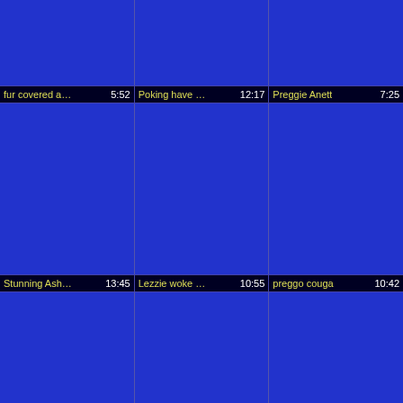[Figure (screenshot): Video thumbnail grid row 1 - blue placeholder thumbnails]
fur covered a…  5:52   Poking have …  12:17   Preggie Anett…  7:25
[Figure (screenshot): Video thumbnail grid row 2 - blue placeholder thumbnails]
Stunning Ash…  13:45   Lezzie woke …  10:55   preggo couga…  10:42
[Figure (screenshot): Video thumbnail grid row 3 - blue placeholder thumbnails]
preggie malf,  11:02   super-cute m…  9:28   Ass fucking o…  10:13
[Figure (screenshot): Video thumbnail grid row 4 - blue placeholder thumbnails (partial)]